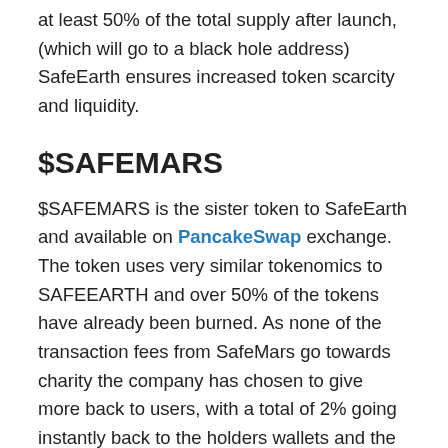at least 50% of the total supply after launch, (which will go to a black hole address) SafeEarth ensures increased token scarcity and liquidity.
$SAFEMARS
$SAFEMARS is the sister token to SafeEarth and available on PancakeSwap exchange. The token uses very similar tokenomics to SAFEEARTH and over 50% of the tokens have already been burned. As none of the transaction fees from SafeMars go towards charity the company has chosen to give more back to users, with a total of 2% going instantly back to the holders wallets and the other 2% is auto-locked to increase scarcity and liquidity. Right now the number of $SAFEMARS holders is growing steadily with 93,699 holders at the time of writing.